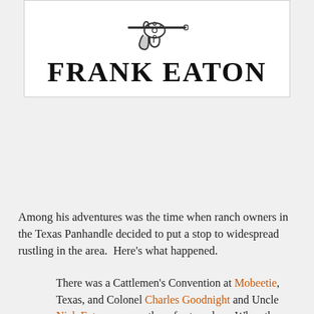[Figure (illustration): Book cover or title image showing a revolver/pistol graphic at top and the bold text 'FRANK EATON' in large serif block letters below it, set against a white background with a light gray border.]
Among his adventures was the time when ranch owners in the Texas Panhandle decided to put a stop to widespread rustling in the area.  Here's what happened.
There was a Cattlemen's Convention at Mobeetie, Texas, and Colonel Charles Goodnight and Uncle Nick Eaton were up there for two days. When they came back they got all hands together and told them to clean their thirty-thirties, wrap them in a blanket with two boxes of shells and put them into the chuck wagon, get their best ponies and get ready to ride to town.